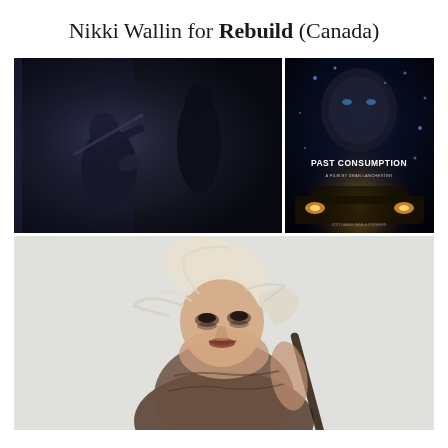Nikki Wallin for Rebuild (Canada)
[Figure (photo): Dark cinematic still showing a woman playing violin silhouetted against a dark background with a shadowy figure behind her]
[Figure (photo): Movie poster for 'Past Consumption - A Film by Dean Lanchester' featuring a person's face with glowing blue particles and a car with headlights in foreground]
[Figure (photo): Action photo of a blonde woman with disheveled hair and dramatic makeup, wearing distressed clothing, mouth open in an intense expression, holding a weapon]